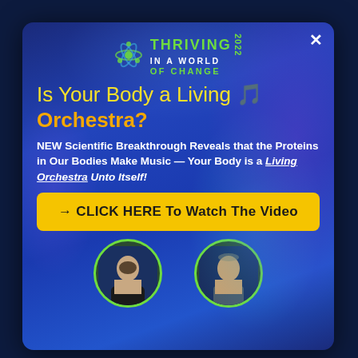[Figure (illustration): Modal popup dialog over dark navy background. Features a glowing blue DNA strand background image. Contains a conference logo 'Thriving in a World of Change 2022', headline text, body text, a yellow CTA button, and two portrait photos at the bottom.]
Is Your Body a Living 🎵 Orchestra?
NEW Scientific Breakthrough Reveals that the Proteins in Our Bodies Make Music — Your Body is a Living Orchestra Unto Itself!
→ CLICK HERE To Watch The Video